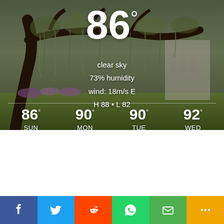[Figure (photo): Outdoor park scene with large oak tree with Spanish moss, green lawn, and white building in background]
86°
clear sky
73% humidity
wind: 18m/s E
H 88 • L 82
86° SUN | 90° MON | 90° TUE | 92° WED
[Figure (infographic): Social media share bar with Facebook, Twitter, Reddit, WhatsApp, Mail, and More buttons]